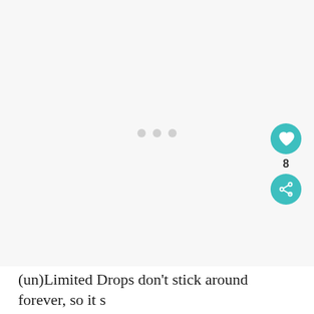[Figure (other): Large light gray placeholder area with three small gray dots (loading indicator) centered in the middle]
(un)Limited Drops don’t stick around forever, so it s